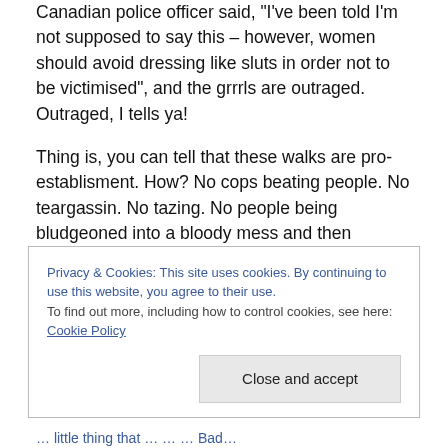Canadian police officer said, "I've been told I'm not supposed to say this – however, women should avoid dressing like sluts in order not to be victimised", and the grrrls are outraged. Outraged, I tells ya!
Thing is, you can tell that these walks are pro-establisment. How? No cops beating people. No teargassin. No tazing. No people being bludgeoned into a bloody mess and then packed twenty at a time into paddy wagons. No being held fifty to a cell for two weeks and then being released without charge.
Privacy & Cookies: This site uses cookies. By continuing to use this website, you agree to their use. To find out more, including how to control cookies, see here: Cookie Policy
Close and accept
… little thing that … … … Bad …